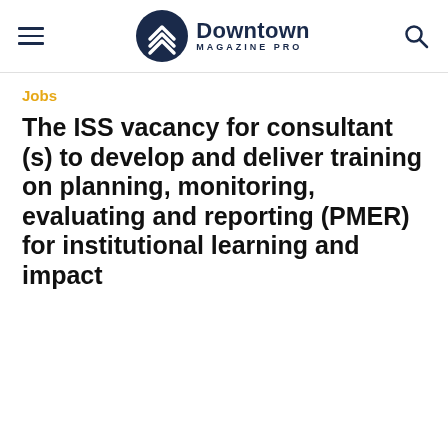Downtown Magazine Pro
Jobs
The ISS vacancy for consultant (s) to develop and deliver training on planning, monitoring, evaluating and reporting (PMER) for institutional learning and impact